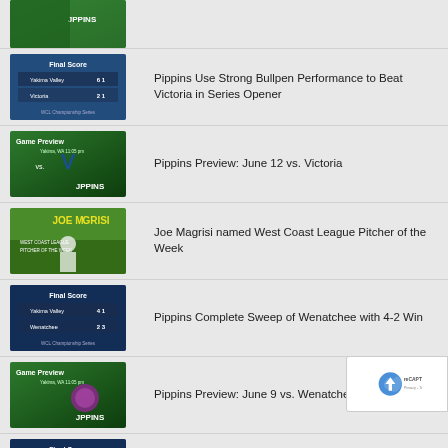[Figure (photo): Yakima Valley Pippins thumbnail image (top, partial)]
Pippins Use Strong Bullpen Performance to Beat Victoria in Series Opener
Pippins Preview: June 12 vs. Victoria
Joe Magrisi named West Coast League Pitcher of the Week
Pippins Complete Sweep of Wenatchee with 4-2 Win
Pippins Preview: June 9 vs. Wenatchee
Pippins Use Bullpen, Big Innings to Open Series vs. Wenatchee